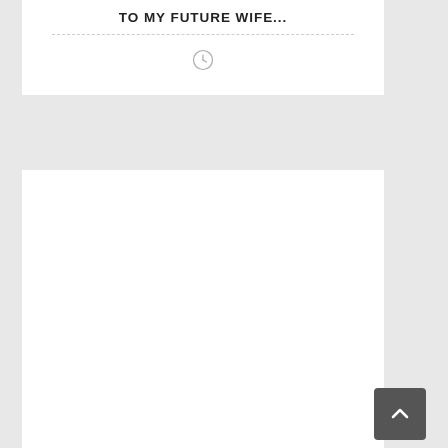TO MY FUTURE WIFE...
[Figure (other): Clock/time icon — a small circular clock symbol]
[Figure (other): Scroll-to-top button with upward chevron arrow, dark gray rounded rectangle]